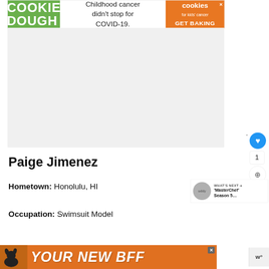[Figure (screenshot): Top banner advertisement: COOKIE DOUGH text on green background, 'Childhood cancer didn't stop for COVID-19.' text, cookies for kids cancer logo and GET BAKING on orange background]
Paige Jimenez
Hometown: Honolulu, HI
[Figure (screenshot): What's Next widget showing MasterChef Season 5... with profile thumbnail]
Occupation: Swimsuit Model
[Figure (screenshot): Bottom banner advertisement: YOUR NEW BFF with dog silhouette on orange background]